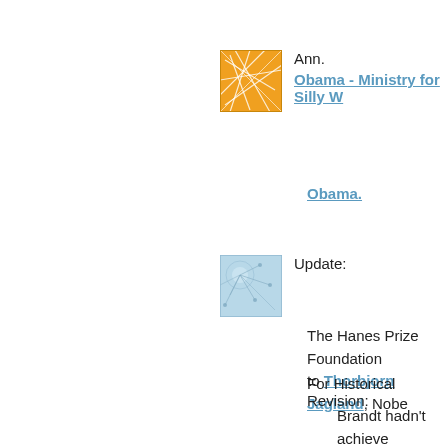[Figure (illustration): Orange square thumbnail with white geometric line pattern]
Ann.
Obama - Ministry for Silly W...
Obama.
[Figure (illustration): Blue square thumbnail with neural/network pattern]
Update:
The Hanes Prize Foundation... to Thorbjorn Jagland, Nobe...
For Historical Revision:
Brandt hadn't achieve... a process had started... Berlin Wall.
For Oxymoronica:
We are not awarding t... the future, but for wha... previous year. We wo...